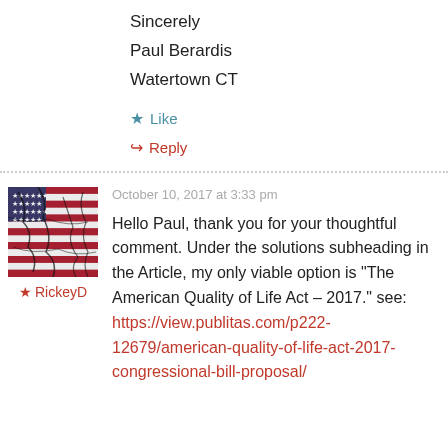Sincerely
Paul Berardis
Watertown CT
★ Like
↳ Reply
October 10, 2017 at 3:33 pm
★ RickeyD
Hello Paul, thank you for your thoughtful comment. Under the solutions subheading in the Article, my only viable option is "The American Quality of Life Act – 2017." see: https://view.publitas.com/p222-12679/american-quality-of-life-act-2017-congressional-bill-proposal/